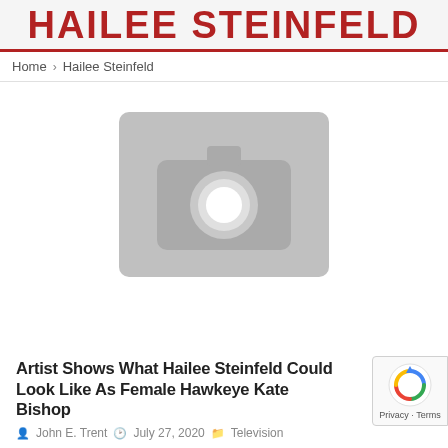HAILEE STEINFELD
Home > Hailee Steinfeld
[Figure (photo): Placeholder image with camera icon on grey background]
Artist Shows What Hailee Steinfeld Could Look Like As Female Hawkeye Kate Bishop
John E. Trent  July 27, 2020  Television